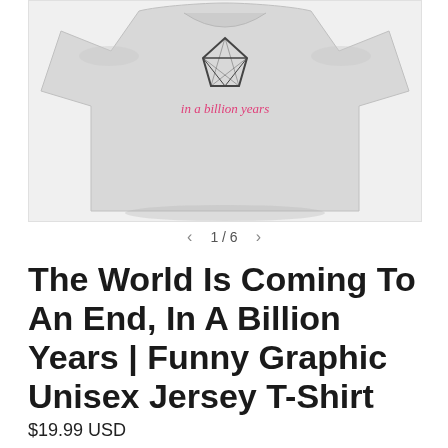[Figure (photo): A light gray heather unisex jersey t-shirt with a graphic design showing a diamond/gem shape and the text 'in a billion years' in pink script font on the chest area. The shirt is displayed on a white/light background.]
1 / 6
The World Is Coming To An End, In A Billion Years | Funny Graphic Unisex Jersey T-Shirt
$19.99 USD